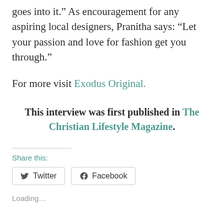goes into it.” As encouragement for any aspiring local designers, Pranitha says: “Let your passion and love for fashion get you through.”
For more visit Exodus Original.
This interview was first published in The Christian Lifestyle Magazine.
Share this:
Twitter Facebook
Loading…